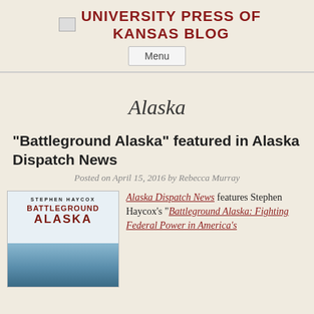UNIVERSITY PRESS OF KANSAS BLOG
Alaska
“Battleground Alaska” featured in Alaska Dispatch News
Posted on April 15, 2016 by Rebecca Murray
[Figure (illustration): Book cover of Battleground Alaska by Stephen Haycox]
Alaska Dispatch News features Stephen Haycox’s “Battleground Alaska: Fighting Federal Power in America’s